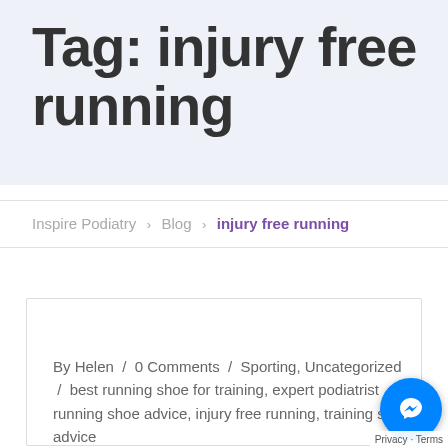Tag: injury free running
Inspire Podiatry › Blog › injury free running
By Helen / 0 Comments / Sporting, Uncategorized / best running shoe for training, expert podiatrist running shoe advice, injury free running, training shoe advice